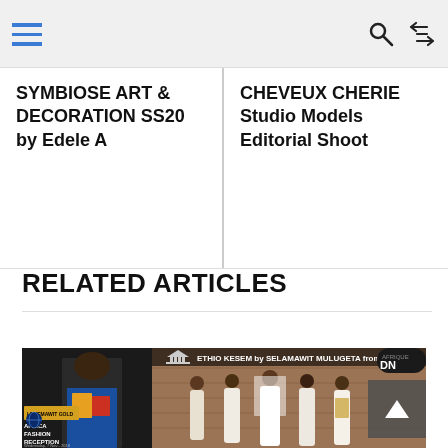Navigation header with hamburger menu, search icon, and shuffle icon
SYMBIOSE ART & DECORATION SS20 by Edele A
CHEVEUX CHERIE Studio Models Editorial Shoot
RELATED ARTICLES
[Figure (photo): Fashion editorial image showing Africa Fashion Reception event with models on runway in colorful African-inspired garment on left, and ETHIO KESEM by SELAMAWIT MULUGETA from Ethiopia showing models in white flowing garments on right, with DN Africa logo in top right corner]